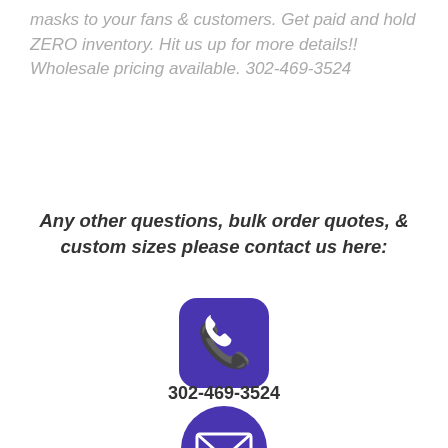masks to your fans & customers. Get paid and hold ZERO inventory. Hit us up for more details!! Wholesale pricing available. 302-469-3524
Any other questions, bulk order quotes, & custom sizes please contact us here:
[Figure (illustration): Purple rounded square icon with white phone handset symbol]
302-469-3524
[Figure (illustration): Purple circle icon with white envelope/mail symbol]
info@FestFlags.com